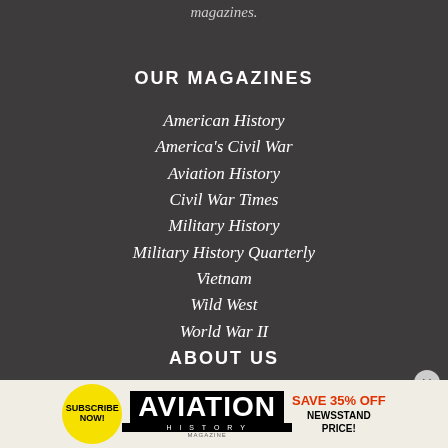magazines.
OUR MAGAZINES
American History
America's Civil War
Aviation History
Civil War Times
Military History
Military History Quarterly
Vietnam
Wild West
World War II
ABOUT US
What is HistoryNet.com?
[Figure (infographic): Advertisement banner: Subscribe Now! Aviation History Magazine - Save 35% Off Newsstand Price!]